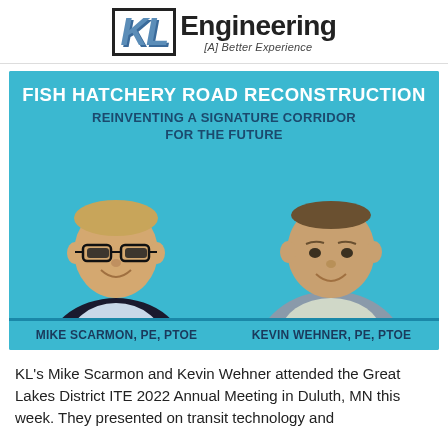[Figure (logo): KL Engineering logo with tagline [A] Better Experience]
[Figure (photo): Banner for Fish Hatchery Road Reconstruction presentation featuring headshots of Mike Scarmon PE PTOE and Kevin Wehner PE PTOE on a teal background]
KL's Mike Scarmon and Kevin Wehner attended the Great Lakes District ITE 2022 Annual Meeting in Duluth, MN this week. They presented on transit technology and